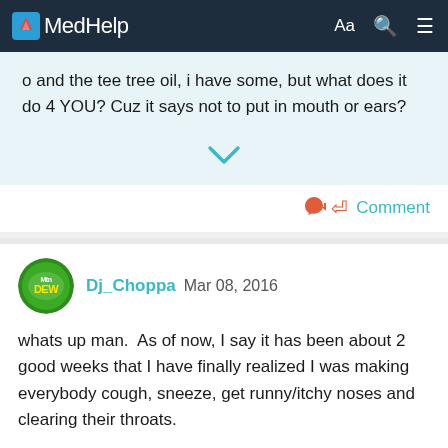MedHelp
o and the tee tree oil, i have some, but what does it do 4 YOU? Cuz it says not to put in mouth or ears?
Comment
Dj_Choppa Mar 08, 2016
whats up man.  As of now, I say it has been about 2 good weeks that I have finally realized I was making everybody cough, sneeze, get runny/itchy noses and clearing their throats.